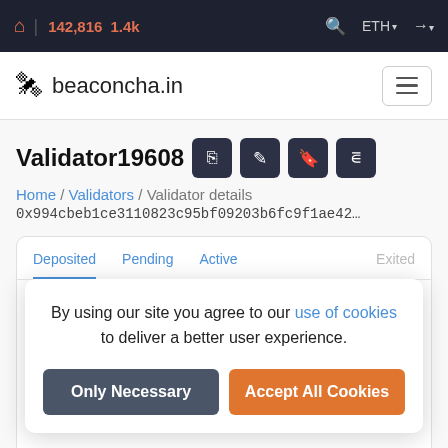142,816  1.4k  ETH
beaconcha.in
Validator19608
Home / Validators / Validator details
0x994cbeb1ce3110823c95bf09203b6fc9f1ae42…
Deposited  Pending  Active  Exited
By using our site you agree to our use of cookies to deliver a better user experience.
Only Necessary  Accept All Cookies
Effectiveness